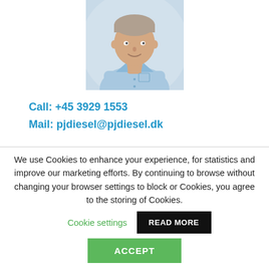[Figure (photo): Portrait photo of a man in a light blue shirt, smiling, against a light background]
Call: +45 3929 1553
Mail: pjdiesel@pjdiesel.dk
We use Cookies to enhance your experience, for statistics and improve our marketing efforts. By continuing to browse without changing your browser settings to block or Cookies, you agree to the storing of Cookies.
Cookie settings
READ MORE
ACCEPT